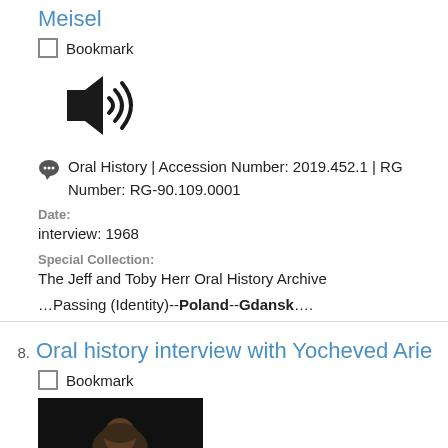Meisel
Bookmark
[Figure (other): Audio/sound speaker icon indicating an audio recording]
Oral History | Accession Number: 2019.452.1 | RG Number: RG-90.109.0001
Date: interview: 1968
Special Collection: The Jeff and Toby Herr Oral History Archive
…Passing (Identity)--Poland--Gdansk….
Oral history interview with Yocheved Arie
Bookmark
[Figure (photo): Thumbnail image showing a person, dark background, partial view]